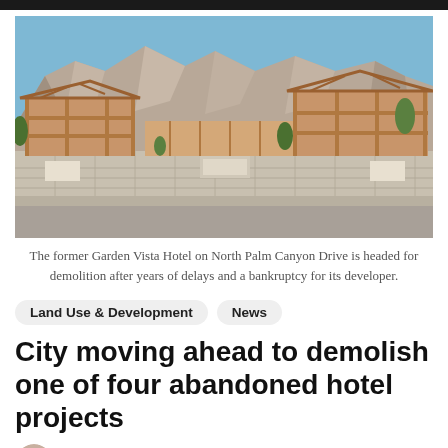[Figure (photo): Construction site of the former Garden Vista Hotel on North Palm Canyon Drive, showing partially framed wooden building structures with mountains and blue sky in the background, behind a concrete block wall fence.]
The former Garden Vista Hotel on North Palm Canyon Drive is headed for demolition after years of delays and a bankruptcy for its developer.
Land Use & Development
News
City moving ahead to demolish one of four abandoned hotel projects
[Figure (photo): Small circular author avatar photo.]